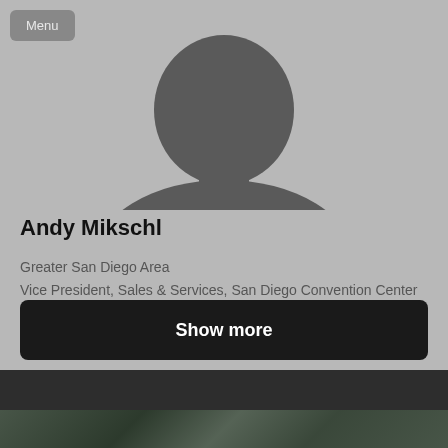[Figure (photo): Silhouette of a person's head and shoulders on a gray background, representing a default profile avatar]
Menu
Andy Mikschl
Greater San Diego Area
Vice President, Sales & Services, San Diego Convention Center Corporation
Hospitality
Show more
[Figure (photo): Partial image of people or a scene visible at the bottom of the page]